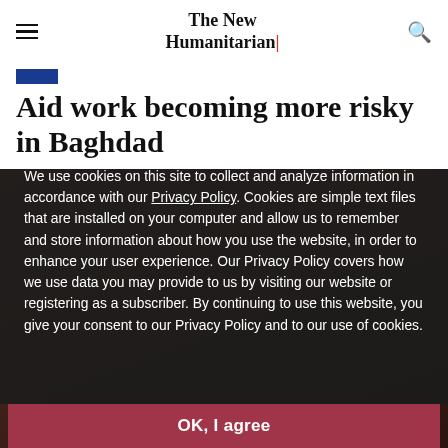The New Humanitarian
Aid work becoming more risky in Baghdad
We use cookies on this site to collect and analyze information in accordance with our Privacy Policy. Cookies are simple text files that are installed on your computer and allow us to remember and store information about how you use the website, in order to enhance your user experience. Our Privacy Policy covers how we use data you may provide to us by visiting our website or registering as a subscriber. By continuing to use this website, you give your consent to our Privacy Policy and to our use of cookies.
OK, I agree